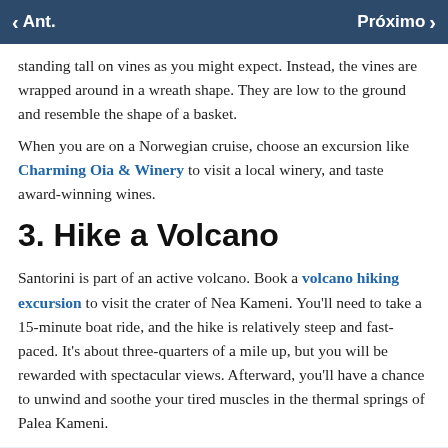< Ant.    Próximo >
standing tall on vines as you might expect. Instead, the vines are wrapped around in a wreath shape. They are low to the ground and resemble the shape of a basket.
When you are on a Norwegian cruise, choose an excursion like Charming Oia & Winery to visit a local winery, and taste award-winning wines.
3. Hike a Volcano
Santorini is part of an active volcano. Book a volcano hiking excursion to visit the crater of Nea Kameni. You'll need to take a 15-minute boat ride, and the hike is relatively steep and fast-paced. It's about three-quarters of a mile up, but you will be rewarded with spectacular views. Afterward, you'll have a chance to unwind and soothe your tired muscles in the thermal springs of Palea Kameni.
CRUZEIROS RELACIONADOS: Cruzeiro de 7 dias, de Atenas para as Ilhas Gregas